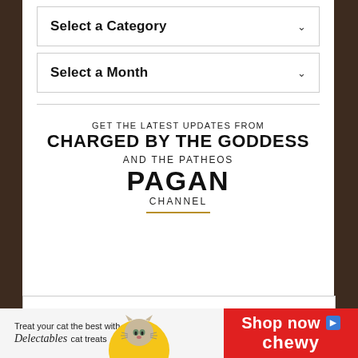Select a Category
Select a Month
GET THE LATEST UPDATES FROM CHARGED BY THE GODDESS AND THE PATHEOS PAGAN CHANNEL
[Figure (infographic): Advertisement banner: Treat your cat the best with Delectables cat treats - Shop now on Chewy]